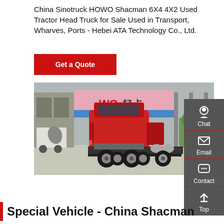China Sinotruck HOWO Shacman 6X4 4X2 Used Tractor Head Truck for Sale Used in Transport, Wharves, Ports - Hebei ATA Technology Co., Ltd.
[Figure (other): Get a Quote button — red rectangle with white text]
[Figure (photo): Red HOWO tractor head truck parked at a truck dealership with HOWO signage. Other trucks visible in background.]
Special Vehicle - China Shacman